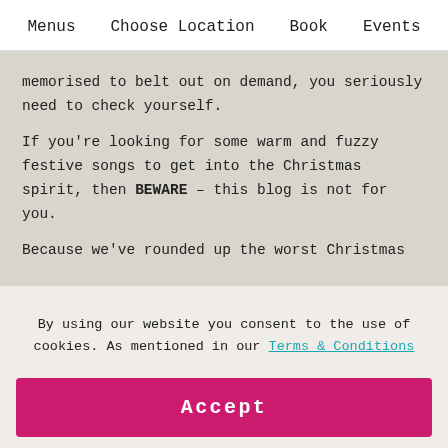Menus   Choose Location   Book   Events
memorised to belt out on demand, you seriously need to check yourself.
If you're looking for some warm and fuzzy festive songs to get into the Christmas spirit, then BEWARE – this blog is not for you.
Because we've rounded up the worst Christmas
By using our website you consent to the use of cookies. As mentioned in our Terms & Conditions
Accept